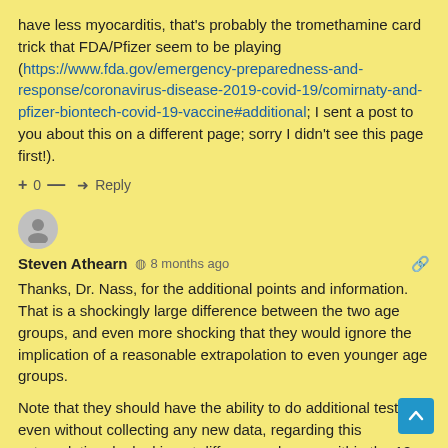have less myocarditis, that's probably the tromethamine card trick that FDA/Pfizer seem to be playing (https://www.fda.gov/emergency-preparedness-and-response/coronavirus-disease-2019-covid-19/comirnaty-and-pfizer-biontech-covid-19-vaccine#additional; I sent a post to you about this on a different page; sorry I didn't see this page first!).
+ 0 — ➜ Reply
[Figure (illustration): User avatar circle with person silhouette icon]
Steven Athearn  8 months ago
Thanks, Dr. Nass, for the additional points and information. That is a shockingly large difference between the two age groups, and even more shocking that they would ignore the implication of a reasonable extrapolation to even younger age groups.
Note that they should have the ability to do additional tests, even without collecting any new data, regarding this extrapolation, by looking at differences by age within the 12-15